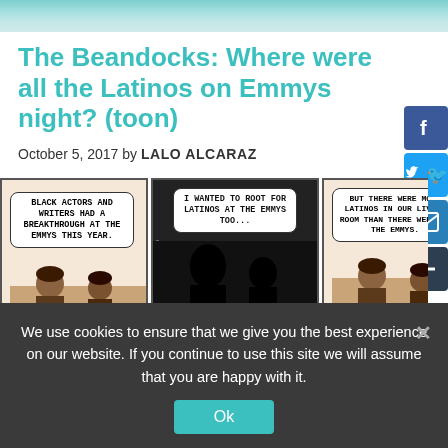[Figure (illustration): Decorative sky/cloud header banner in teal and light blue]
The Beandocks: Where were all the Latinos on Emmys night? (toon)
October 5, 2017 by LALO ALCARAZ
[Figure (illustration): Three-panel comic strip called The Beandocks. Panel 1: Character says 'BLACK ACTORS AND WRITERS HAD A BREAKTHROUGH AT THE EMMYS THIS YEAR.' Panel 2 (dark silhouette): 'I WANTED TO ROOT FOR LATINOS AT THE EMMYS TOO...' Panel 3: 'BUT THERE WERE MORE LATINOS IN OUR LIVING ROOM THAN THERE WERE AT THE EMMYS.']
We use cookies to ensure that we give you the best experience on our website. If you continue to use this site we will assume that you are happy with it.